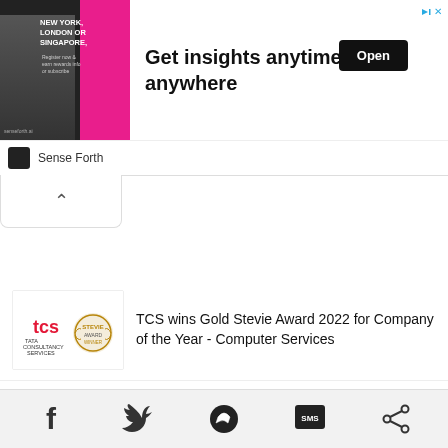[Figure (screenshot): Advertisement banner: image of a man in suit with pink background and text 'NEW YORK, LONDON OR SINGAPORE' on left; large text 'Get insights anytime, anywhere' in center; black 'Open' button on right; Sense Forth logo and name in footer; skip button top right]
[Figure (screenshot): Collapse tab with upward-pointing chevron arrow]
TCS wins Gold Stevie Award 2022 for Company of the Year - Computer Services
Every two in three businesses in SEA are ransomware victims, Kaspersky study finds
[Figure (screenshot): Bottom share bar with Facebook, Twitter, Messenger, SMS, and Share icons]